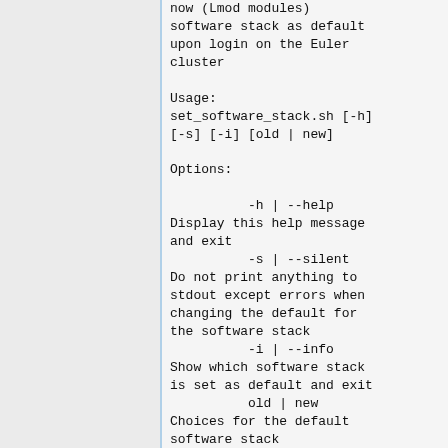now (Lmod modules) software stack as default upon login on the Euler cluster

Usage:
set_software_stack.sh [-h] [-s] [-i] [old | new]

Options:

          -h | --help
Display this help message and exit
          -s | --silent
Do not print anything to stdout except errors when changing the default for the software stack
          -i | --info
Show which software stack is set as default and exit
          old | new
Choices for the default software stack